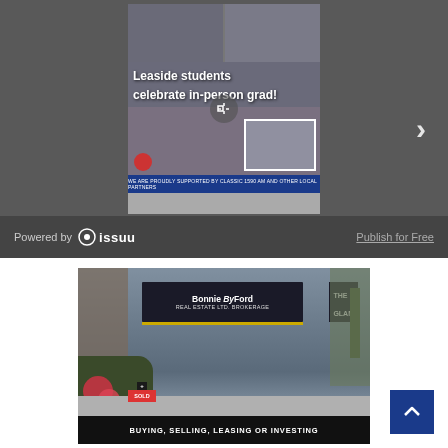[Figure (screenshot): Issuu embedded magazine viewer showing a newspaper page with headline 'Leaside students celebrate in-person grad!' with graduation photos. A right arrow navigation button is visible on the right side.]
Powered by issuu
Publish for Free
[Figure (photo): Street-level photo of Bonnie ByFord Real Estate Ltd. Brokerage storefront on a commercial street, with flowers in the foreground and a SOLD sign. Adjacent to The Glam store.]
BUYING, SELLING, LEASING OR INVESTING